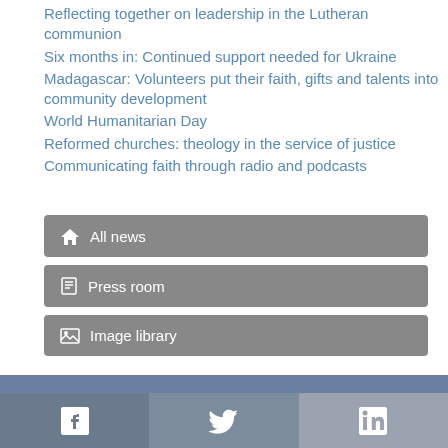Reflecting together on leadership in the Lutheran communion
Six months in: Continued support needed for Ukraine
Madagascar: Volunteers put their faith, gifts and talents into community development
World Humanitarian Day
Reformed churches: theology in the service of justice
Communicating faith through radio and podcasts
[Figure (screenshot): Navigation buttons: All news, Press room, Image library]
[Figure (infographic): Social media footer bar with Facebook, Twitter, and LinkedIn icons]